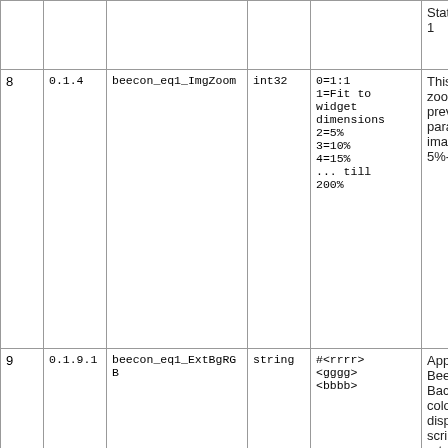| # | Ver | Name | Type | Values | Description |
| --- | --- | --- | --- | --- | --- |
|  |  |  |  |  | Status eq 1 |
| 8 | 0.1.4 | beecon_eq1_ImgZoom | int32 | 0=1:1
1=Fit to widget dimensions
2=5%
3=10%
4=15%
... till
200% | This is the zoom/sca the previo paramete image (1: 5%-200% |
| 9 | 0.1.9.1 | beecon_eq1_ExtBgRGB | string | #<rrrr>
<gggg>
<bbbb> | Applies to Beecons; Backgrou color to b displayed script/con returns a Status eq 1 |
| 10 | 0.1.0 | beecon_ge2_ImgFilename | string | - | Applies to Beecons; filename o image to b displayed script/con returns a |